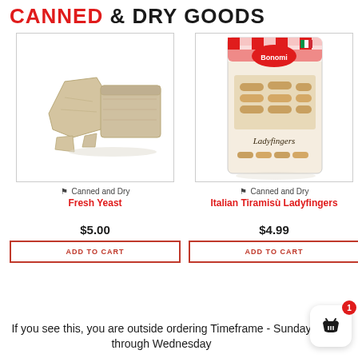CANNED & DRY GOODS
[Figure (photo): Photo of fresh yeast chunks on white background]
Canned and Dry
Fresh Yeast
$5.00
ADD TO CART
[Figure (photo): Photo of Bonomi Italian Tiramisu Ladyfingers package]
Canned and Dry
Italian Tiramisù Ladyfingers
$4.99
ADD TO CART
If you see this, you are outside ordering Timeframe - Sunday through Wednesday